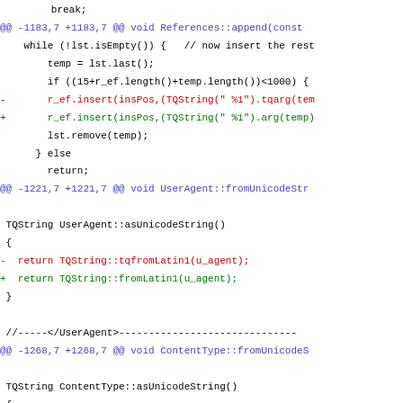Code diff showing changes in References::append, UserAgent::fromUnicodeStr, ContentType::fromUnicodeS, and CTEncoding::fromUnicodeSt functions, replacing tqarg/tqfromLatin1 with arg/fromLatin1 equivalents.